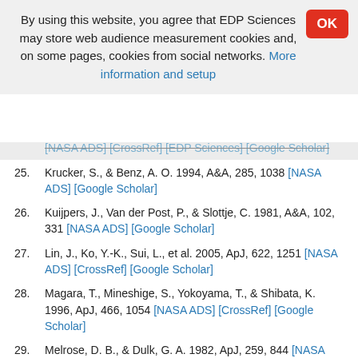By using this website, you agree that EDP Sciences may store web audience measurement cookies and, on some pages, cookies from social networks. More information and setup
[NASA ADS] [CrossRef] [EDP Sciences] [Google Scholar]
25. Krucker, S., & Benz, A. O. 1994, A&A, 285, 1038 [NASA ADS] [Google Scholar]
26. Kuijpers, J., Van der Post, P., & Slottje, C. 1981, A&A, 102, 331 [NASA ADS] [Google Scholar]
27. Lin, J., Ko, Y.-K., Sui, L., et al. 2005, ApJ, 622, 1251 [NASA ADS] [CrossRef] [Google Scholar]
28. Magara, T., Mineshige, S., Yokoyama, T., & Shibata, K. 1996, ApJ, 466, 1054 [NASA ADS] [CrossRef] [Google Scholar]
29. Melrose, D. B., & Dulk, G. A. 1982, ApJ, 259, 844 [NASA ADS] [CrossRef] [Google Scholar]
30. Mészárosová, H., Veronig, A., Zlobec, P., & Karlický, M. 2003, A&A, 407, 1115 [NASA ADS] [CrossRef] [EDP Sciences] [Google Scholar]